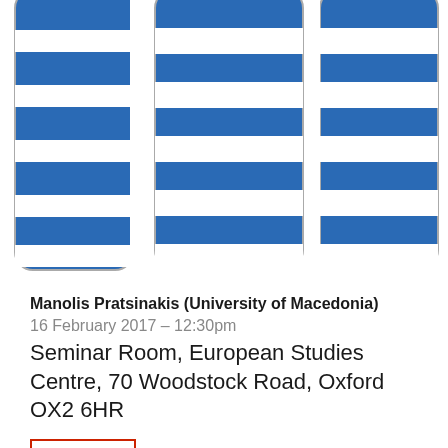[Figure (illustration): Three Greek flag icons arranged side by side, each with blue and white horizontal stripes and rounded corners, partially cropped at the top]
Manolis Pratsinakis (University of Macedonia)
16 February 2017 – 12:30pm
Seminar Room, European Studies Centre, 70 Woodstock Road, Oxford OX2 6HR
Podcast